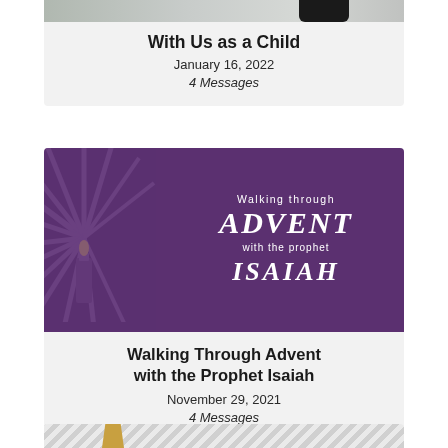[Figure (photo): Top portion of a card showing a partially visible image (outdoor scene with dark figure), cropped at top of page]
With Us as a Child
January 16, 2022
4 Messages
[Figure (illustration): Purple background image with advent candle rays design and white text: 'Walking through ADVENT with the prophet ISAIAH']
Walking Through Advent with the Prophet Isaiah
November 29, 2021
4 Messages
[Figure (illustration): Partial image at bottom of page with diagonal grey stripes background and a gold/yellow chalice or trophy shape partially visible]